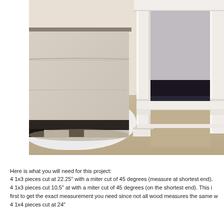[Figure (photo): Close-up photo of the base of a white wooden side table/C-table next to a light beige sofa. The table has white painted wood legs and a lower shelf frame. Dark carpet/rug underneath, beige carpet floor around it.]
Here is what you will need for this project:
4 1x3 pieces cut at 22.25" with a miter cut of 45 degrees (measure at shortest end).
4 1x3 pieces cut 10.5" at with a miter cut of 45 degrees (on the shortest end). This i first to get the exact measurement you need since not all wood measures the same w
4 1x4 pieces cut at 24"